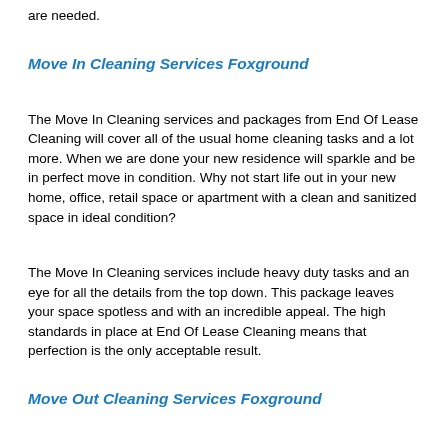are needed.
Move In Cleaning Services Foxground
The Move In Cleaning services and packages from End Of Lease Cleaning will cover all of the usual home cleaning tasks and a lot more. When we are done your new residence will sparkle and be in perfect move in condition. Why not start life out in your new home, office, retail space or apartment with a clean and sanitized space in ideal condition?
The Move In Cleaning services include heavy duty tasks and an eye for all the details from the top down. This package leaves your space spotless and with an incredible appeal. The high standards in place at End Of Lease Cleaning means that perfection is the only acceptable result.
Move Out Cleaning Services Foxground
End Of Lease Cleaning provides Move Out Cleaning services and packages that will relieve the stress and make your move